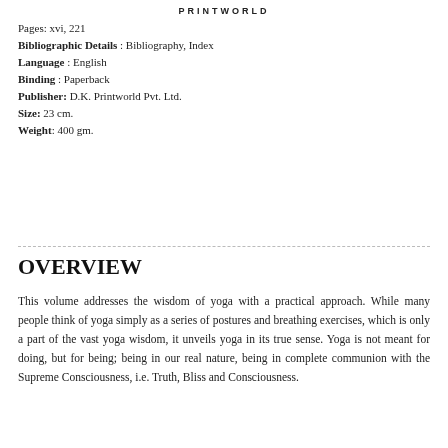PRINTWORLD
Pages: xvi, 221
Bibliographic Details : Bibliography, Index
Language : English
Binding : Paperback
Publisher: D.K. Printworld Pvt. Ltd.
Size: 23 cm.
Weight: 400 gm.
OVERVIEW
This volume addresses the wisdom of yoga with a practical approach. While many people think of yoga simply as a series of postures and breathing exercises, which is only a part of the vast yoga wisdom, it unveils yoga in its true sense. Yoga is not meant for doing, but for being; being in our real nature, being in complete communion with the Supreme Consciousness, i.e. Truth, Bliss and Consciousness.